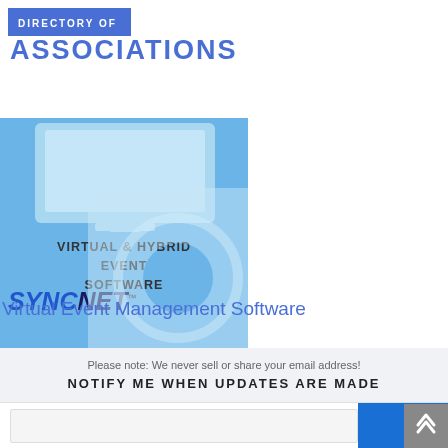DIRECTORY OF ASSOCIATIONS
[Figure (illustration): SyncNet Virtual & Hybrid Event Software advertisement banner with blue background, monitor icon, and SyncNet logo]
Virtual Event Management Software
Please note: We never sell or share your email address!
NOTIFY ME WHEN UPDATES ARE MADE